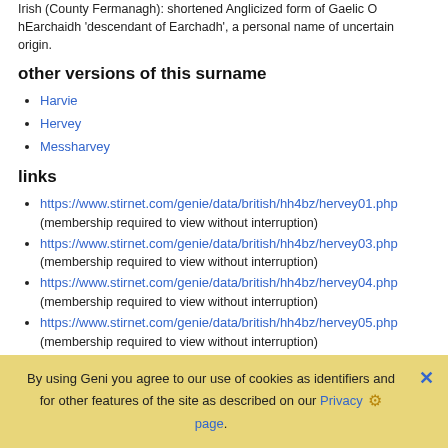Irish (County Fermanagh): shortened Anglicized form of Gaelic O hEarchaidh 'descendant of Earchadh', a personal name of uncertain origin.
other versions of this surname
Harvie
Hervey
Messharvey
links
https://www.stirnet.com/genie/data/british/hh4bz/hervey01.php
(membership required to view without interruption)
https://www.stirnet.com/genie/data/british/hh4bz/hervey03.php
(membership required to view without interruption)
https://www.stirnet.com/genie/data/british/hh4bz/hervey04.php
(membership required to view without interruption)
https://www.stirnet.com/genie/data/british/hh4bz/hervey05.php
(membership required to view without interruption)
By using Geni you agree to our use of cookies as identifiers and for other features of the site as described on our Privacy page.